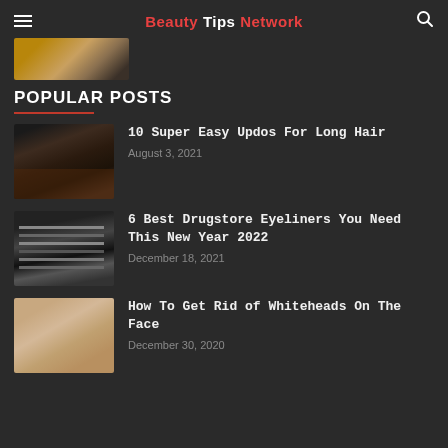Beauty Tips Network
[Figure (photo): Partial cropped photo thumbnail visible at top left]
POPULAR POSTS
[Figure (photo): Thumbnail of a person getting hair styled in an updo]
10 Super Easy Updos For Long Hair
August 3, 2021
[Figure (photo): Thumbnail of several eyeliner pencils arranged diagonally]
6 Best Drugstore Eyeliners You Need This New Year 2022
December 18, 2021
[Figure (photo): Thumbnail of a person touching their chin/face near the mouth area]
How To Get Rid of Whiteheads On The Face
December 30, 2020